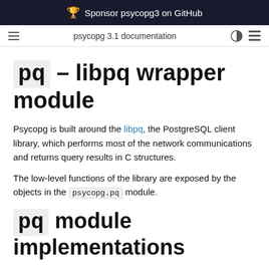Sponsor psycopg3 on GitHub
psycopg 3.1 documentation
pq – libpq wrapper module
Psycopg is built around the libpq, the PostgreSQL client library, which performs most of the network communications and returns query results in C structures.
The low-level functions of the library are exposed by the objects in the psycopg.pq module.
pq module implementations